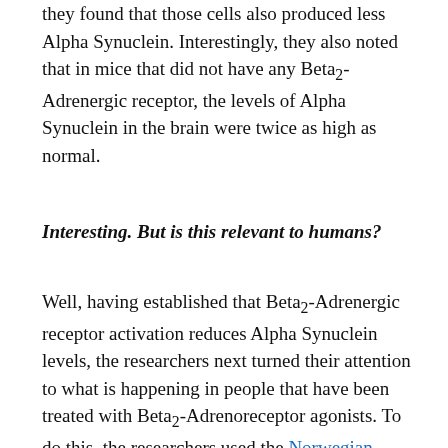they found that those cells also produced less Alpha Synuclein. Interestingly, they also noted that in mice that did not have any Beta2-Adrenergic receptor, the levels of Alpha Synuclein in the brain were twice as high as normal.
Interesting. But is this relevant to humans?
Well, having established that Beta2-Adrenergic receptor activation reduces Alpha Synuclein levels, the researchers next turned their attention to what is happening in people that have been treated with Beta2-Adrenoreceptor agonists. To do this, the researchers used the Norwegian Prescription Database which contains the complete records of all prescribed